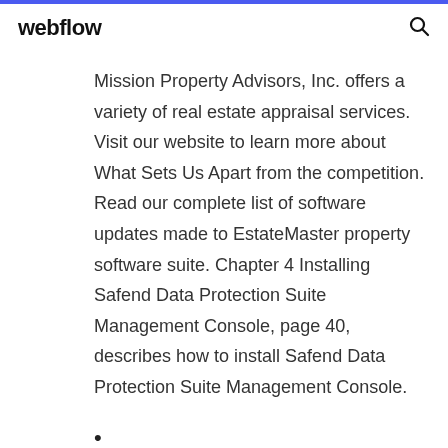webflow
Mission Property Advisors, Inc. offers a variety of real estate appraisal services. Visit our website to learn more about What Sets Us Apart from the competition. Read our complete list of software updates made to EstateMaster property software suite. Chapter 4 Installing Safend Data Protection Suite Management Console, page 40, describes how to install Safend Data Protection Suite Management Console.